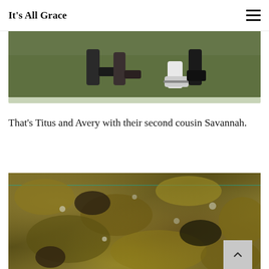It's All Grace
[Figure (photo): Partial photo showing children's feet and legs on green grass, cropped at top]
That's Titus and Avery with their second cousin Savannah.
[Figure (photo): Aerial or close-up photo of autumn leaves and ground cover, with a teal horizontal line artifact near the top. A scroll-to-top button with a caret (^) is visible in the bottom right corner.]